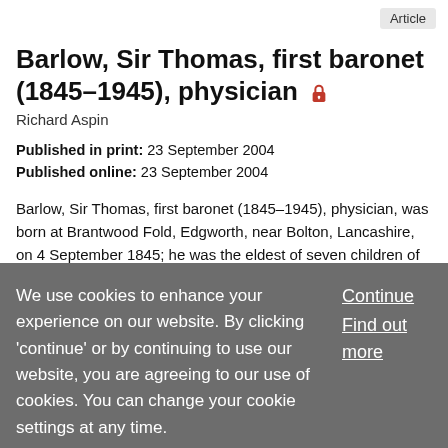Article
Barlow, Sir Thomas, first baronet (1845–1945), physician 🔒
Richard Aspin
Published in print: 23 September 2004
Published online: 23 September 2004
Barlow, Sir Thomas, first baronet (1845–1945), physician, was born at Brantwood Fold, Edgworth, near Bolton, Lancashire, on 4 September 1845; he was the eldest of seven children of James Barlow (1821–1887) of Greenthorne, Edgworth, who established the cotton mills of Barlow and
We use cookies to enhance your experience on our website. By clicking 'continue' or by continuing to use our website, you are agreeing to our use of cookies. You can change your cookie settings at any time.